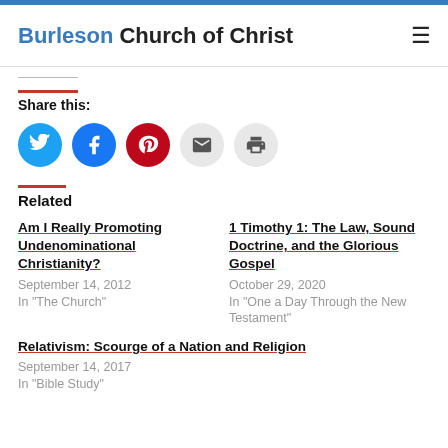Burleson Church of Christ
Share this:
[Figure (infographic): Five social share icon circles: Twitter (blue), Facebook (dark blue), Pinterest (red), Email (light gray), Print (light gray)]
Related
Am I Really Promoting Undenominational Christianity?
September 14, 2012
In "The Church"
1 Timothy 1: The Law, Sound Doctrine, and the Glorious Gospel
October 29, 2020
In "One a Day Through the New Testament"
Relativism: Scourge of a Nation and Religion
September 14, 2017
In "Bible Study"